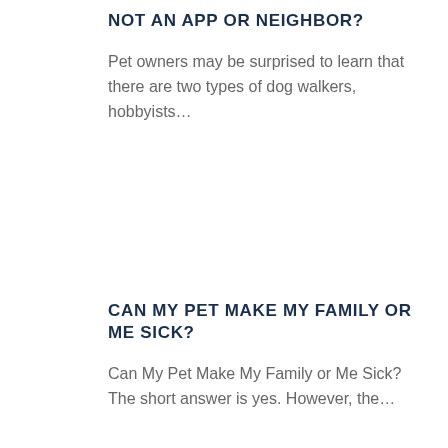NOT AN APP OR NEIGHBOR?
Pet owners may be surprised to learn that there are two types of dog walkers, hobbyists…
CAN MY PET MAKE MY FAMILY OR ME SICK?
Can My Pet Make My Family or Me Sick? The short answer is yes. However, the…